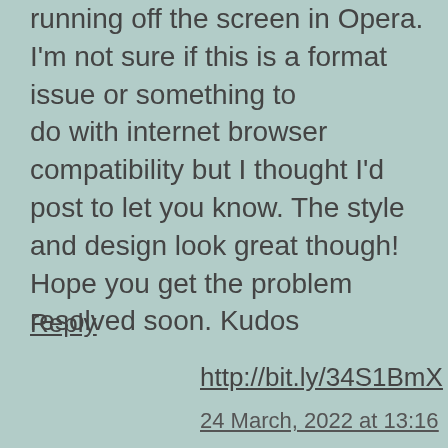running off the screen in Opera. I'm not sure if this is a format issue or something to do with internet browser compatibility but I thought I'd post to let you know. The style and design look great though! Hope you get the problem resolved soon. Kudos
Reply
http://bit.ly/34S1BmX
24 March, 2022 at 13:16